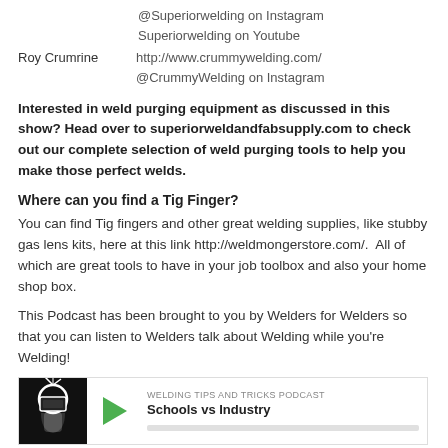@Superiorwelding on Instagram
Superiorwelding on Youtube
Roy Crumrine    http://www.crummywelding.com/
@CrummyWelding on Instagram
Interested in weld purging equipment as discussed in this show? Head over to superiorweldandfabsupply.com to check out our complete selection of weld purging tools to help you make those perfect welds.
Where can you find a Tig Finger?
You can find Tig fingers and other great welding supplies, like stubby gas lens kits, here at this link http://weldmongerstore.com/.  All of which are great tools to have in your job toolbox and also your home shop box.
This Podcast has been brought to you by Welders for Welders so that you can listen to Welders talk about Welding while you're Welding!
[Figure (other): Podcast card for Welding Tips and Tricks Podcast, episode 'Schools vs Industry', with thumbnail image of welder logo, green play button, episode title and progress bar]